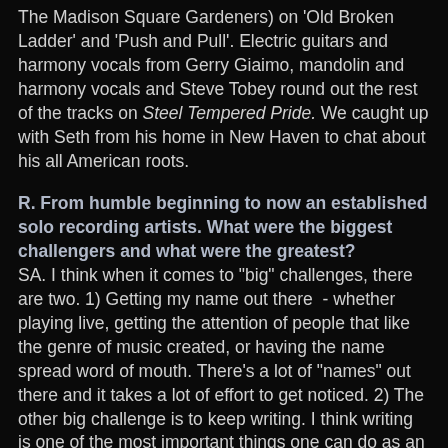The Madison Square Gardeners) on 'Old Broken Ladder' and 'Push and Pull'. Electric guitars and harmony vocals from Gerry Giaimo, mandolin and harmony vocals and Steve Tobey round out the rest of the tracks on Steel Tempered Pride. We caught up with Seth from his home in New Haven to chat about his all American roots.
R. From humble beginning to now an established solo recording artists. What were the biggest challengers and what were the greatest?
SA. I think when it comes to "big" challenges, there are two. 1) Getting my name out there - whether playing live, getting the attention of people that like the genre of music created, or having the name spread word of mouth. There's a lot of "names" out there and it takes a lot of effort to get noticed. 2) The other big challenge is to keep writing. I think writing is one of the most important things one can do as an artist. I mean, it's all based on writing songs, right? If the well dries, that's a problem. As far as the greatest challenge though, at